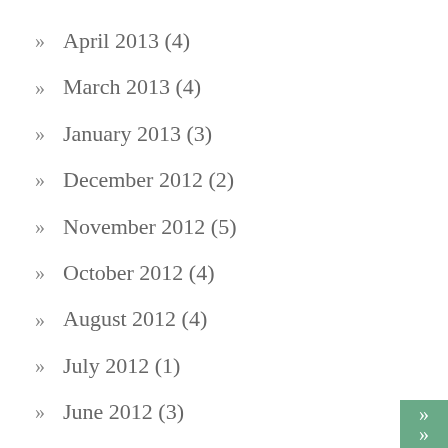» April 2013 (4)
» March 2013 (4)
» January 2013 (3)
» December 2012 (2)
» November 2012 (5)
» October 2012 (4)
» August 2012 (4)
» July 2012 (1)
» June 2012 (3)
» May 2012 (4)